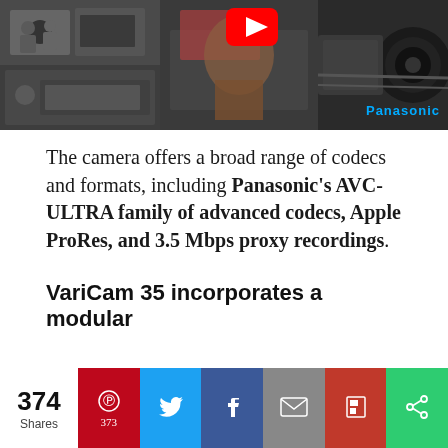[Figure (photo): Collage of camera crew/equipment photos with Panasonic branding and YouTube play button overlay]
The camera offers a broad range of codecs and formats, including Panasonic's AVC-ULTRA family of advanced codecs, Apple ProRes, and 3.5 Mbps proxy recordings.
VariCam 35 incorporates a modular
Privacy & Cookies: This site uses cookies. By continuing to use this website, you agree to their use.
To find out more, including how to control cookies, see here:
Cookie Policy
374 Shares | Pinterest 373 | Twitter | Facebook | Email | Flipboard | Other